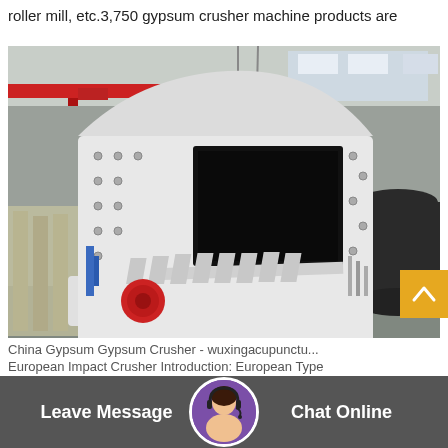roller mill, etc.3,750 gypsum crusher machine products are
[Figure (photo): Large white industrial impact crusher machine inside a factory/warehouse setting. The machine is massive, white-painted heavy steel construction with bolted plates, a large black rectangular opening on the front face, multiple angled fins along the bottom, and a red circular element (motor/shaft). A red overhead crane is visible in the background along with industrial racking and a large stack of dark metal rings to the right.]
China Gypsum Gypsum Crusher - wuxingacupunctu...
European Impact Crusher Introduction: European Type
Leave Message
Chat Online